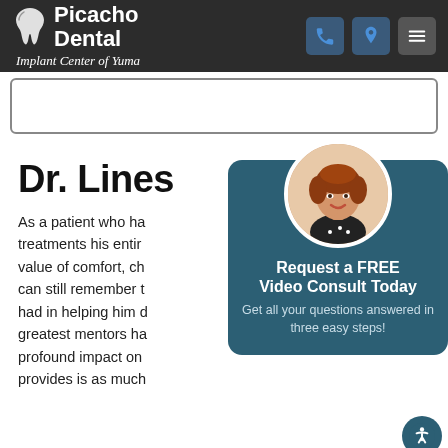[Figure (logo): Picacho Dental Implant Center of Yuma logo with tooth graphic on dark background header]
[Figure (screenshot): Search bar / input field area with rounded border]
Dr. Lines
As a patient who had dental treatments his entire life, he knows the value of comfort, chairside manner. He can still remember the profound impact had in helping him achieve his smile. greatest mentors had a profound impact on provides is as much
[Figure (infographic): Popup card with woman photo in circle, teal background, text: Request a FREE Video Consult Today. Get all your questions answered in three easy steps!]
Request a FREE Video Consult Today
Get all your questions answered in three easy steps!